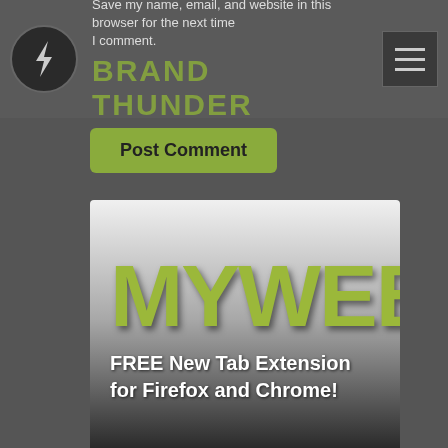Brand Thunder — Save my name, email, and website in this browser for the next time I comment.
Post Comment
[Figure (screenshot): MYWEB brand banner: large lime-green bold text 'MYWEB' on grey gradient background, subtitle 'FREE New Tab Extension for Firefox and Chrome!']
[Figure (screenshot): Partial bottom banner showing San Antonio Spurs logo and a green Minecraft-style logo on dark background]